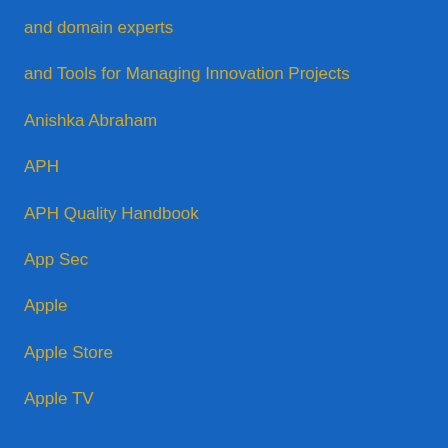and domain experts
and Tools for Managing Innovation Projects
Anishka Abraham
APH
APH Quality Handbook
App Sec
Apple
Apple Store
Apple TV